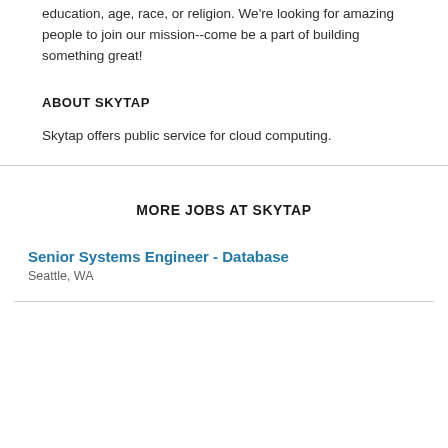education, age, race, or religion. We're looking for amazing people to join our mission--come be a part of building something great!
ABOUT SKYTAP
Skytap offers public service for cloud computing.
MORE JOBS AT SKYTAP
Senior Systems Engineer - Database
Seattle, WA